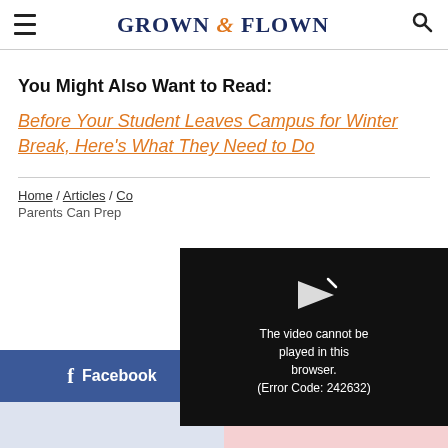GROWN & FLOWN
You Might Also Want to Read:
Before Your Student Leaves Campus for Winter Break, Here’s What They Need to Do
Home / Articles / Co... Parents Can Prep
[Figure (screenshot): Video player error overlay showing a play icon and message: The video cannot be played in this browser. (Error Code: 242632)]
Facebook
Pin